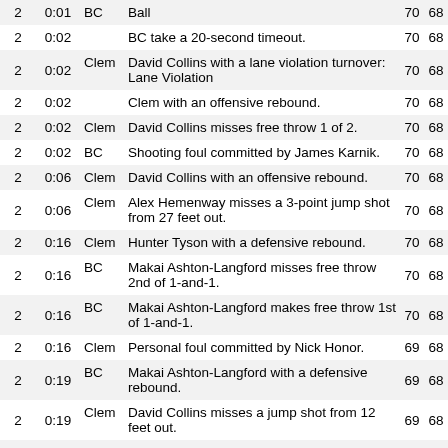|  |  |  |  |  |  |
| --- | --- | --- | --- | --- | --- |
| 2 | 0:01 | BC | Ball | 70 | 68 |
| 2 | 0:02 |  | BC take a 20-second timeout. | 70 | 68 |
| 2 | 0:02 | Clem | David Collins with a lane violation turnover: Lane Violation | 70 | 68 |
| 2 | 0:02 |  | Clem with an offensive rebound. | 70 | 68 |
| 2 | 0:02 | Clem | David Collins misses free throw 1 of 2. | 70 | 68 |
| 2 | 0:02 | BC | Shooting foul committed by James Karnik. | 70 | 68 |
| 2 | 0:06 | Clem | David Collins with an offensive rebound. | 70 | 68 |
| 2 | 0:06 | Clem | Alex Hemenway misses a 3-point jump shot from 27 feet out. | 70 | 68 |
| 2 | 0:16 | Clem | Hunter Tyson with a defensive rebound. | 70 | 68 |
| 2 | 0:16 | BC | Makai Ashton-Langford misses free throw 2nd of 1-and-1. | 70 | 68 |
| 2 | 0:16 | BC | Makai Ashton-Langford makes free throw 1st of 1-and-1. | 70 | 68 |
| 2 | 0:16 | Clem | Personal foul committed by Nick Honor. | 69 | 68 |
| 2 | 0:19 | BC | Makai Ashton-Langford with a defensive rebound. | 69 | 68 |
| 2 | 0:19 | Clem | David Collins misses a jump shot from 12 feet out. | 69 | 68 |
| 2 | 0:23 |  | Clem take a full timeout. | 69 | 68 |